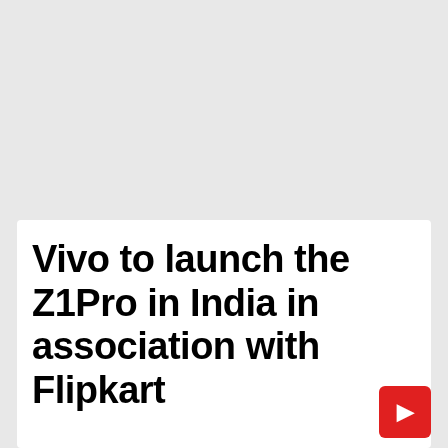Vivo to launch the Z1Pro in India in association with Flipkart